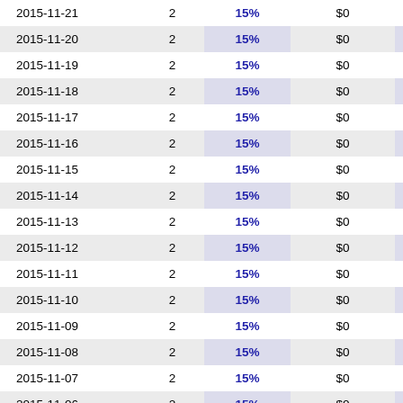| Date |  | Rate | Amount |  |
| --- | --- | --- | --- | --- |
| 2015-11-21 | 2 | 15% | $0 | -- |
| 2015-11-20 | 2 | 15% | $0 | -- |
| 2015-11-19 | 2 | 15% | $0 | -- |
| 2015-11-18 | 2 | 15% | $0 | -- |
| 2015-11-17 | 2 | 15% | $0 | -- |
| 2015-11-16 | 2 | 15% | $0 | -- |
| 2015-11-15 | 2 | 15% | $0 | -- |
| 2015-11-14 | 2 | 15% | $0 | -- |
| 2015-11-13 | 2 | 15% | $0 | -- |
| 2015-11-12 | 2 | 15% | $0 | -- |
| 2015-11-11 | 2 | 15% | $0 | -- |
| 2015-11-10 | 2 | 15% | $0 | -- |
| 2015-11-09 | 2 | 15% | $0 | -- |
| 2015-11-08 | 2 | 15% | $0 | -- |
| 2015-11-07 | 2 | 15% | $0 | -- |
| 2015-11-06 | 2 | 15% | $0 | -- |
| 2015-11-05 | 2 | 15% | $0 | -- |